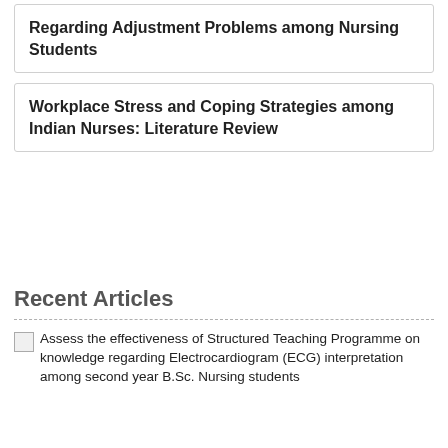Regarding Adjustment Problems among Nursing Students
Workplace Stress and Coping Strategies among Indian Nurses: Literature Review
Recent Articles
Assess the effectiveness of Structured Teaching Programme on knowledge regarding Electrocardiogram (ECG) interpretation among second year B.Sc. Nursing students